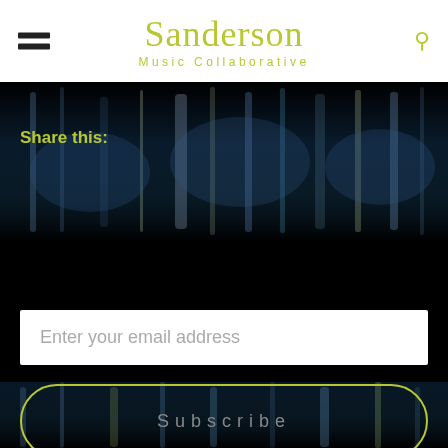Sanderson Music Collaborative
Share this:
[Figure (photo): Dark concert/music venue photo with blurred colorful stage lights — blues, whites, yellows — over a dark background, used as page backdrop]
Enter your email address
Subscribe